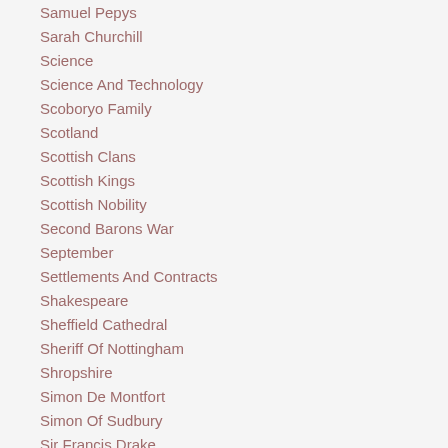Samuel Pepys
Sarah Churchill
Science
Science And Technology
Scoboryo Family
Scotland
Scottish Clans
Scottish Kings
Scottish Nobility
Second Barons War
September
Settlements And Contracts
Shakespeare
Sheffield Cathedral
Sheriff Of Nottingham
Shropshire
Simon De Montfort
Simon Of Sudbury
Sir Francis Drake